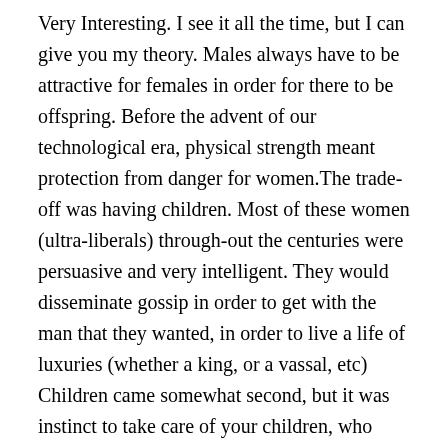Very Interesting. I see it all the time, but I can give you my theory. Males always have to be attractive for females in order for there to be offspring. Before the advent of our technological era, physical strength meant protection from danger for women.The trade-off was having children. Most of these women (ultra-liberals) through-out the centuries were persuasive and very intelligent. They would disseminate gossip in order to get with the man that they wanted, in order to live a life of luxuries (whether a king, or a vassal, etc) Children came somewhat second, but it was instinct to take care of your children, who represent a part of you. Normal women on the other hand (the ones who really love men and company and a family and are not so interested in luxuries) were more plentiful in the past, since men would prefer to be with a woman such as this, than than with a smart woman who might actually plot against him in the future. None-the-less, at the beginning of the 18th century, the Industrial Revolution begun, and our way of life began to really kick off, population began to explode, and this was a perfect breeding ground for intelligent women, in order for them to survive and attain luxuries (there were many